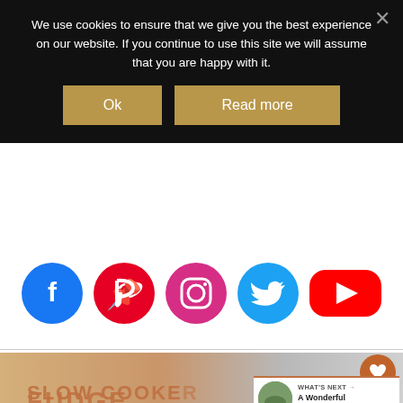We use cookies to ensure that we give you the best experience on our website. If you continue to use this site we will assume that you are happy with it.
[Figure (screenshot): Cookie consent banner with dark background, two gold buttons labeled 'Ok' and 'Read more', and a close X icon]
[Figure (infographic): Row of social media icon buttons: Facebook (blue circle), Pinterest (red circle), Instagram (pink circle), Twitter (light blue circle), YouTube (red rounded rectangle)]
[Figure (photo): Partial view of a food blog article showing slow cooker fudge pieces with the article title 'SLOW COOKER FUDGE' overlaid in large orange/brown letters. A 'WHAT'S NEXT' panel shows a link to 'A Wonderful Hampshire...' article.]